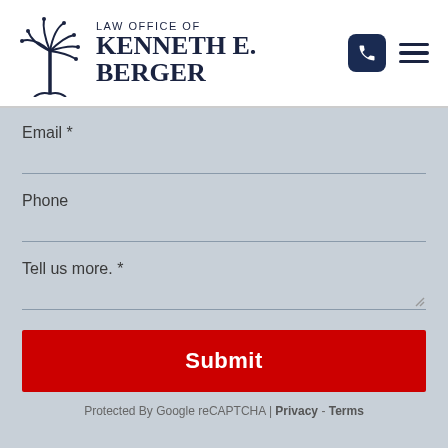[Figure (logo): Law Office of Kenneth E. Berger logo with South Carolina palmetto tree and crescent moon]
Email *
Phone
Tell us more. *
Submit
Protected By Google reCAPTCHA | Privacy - Terms